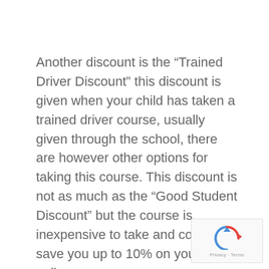Another discount is the “Trained Driver Discount” this discount is given when your child has taken a trained driver course, usually given through the school, there are however other options for taking this course. This discount is not as much as the “Good Student Discount” but the course is inexpensive to take and could save you up to 10% on your policy.
[Figure (logo): reCAPTCHA logo with Privacy and Terms text]